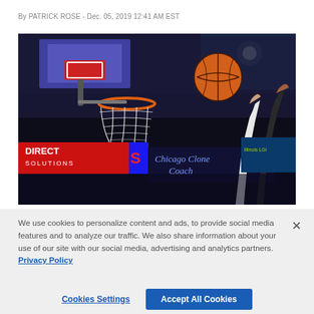By PATRICK ROSE - Dec. 05, 2019 12:41 AM EST
[Figure (photo): Basketball game action photo showing players jumping near a basketball hoop. A basketball is visible above the rim. Signage in the background reads 'Direct Solutions' and 'Chicago Clone Coach'.]
We use cookies to personalize content and ads, to provide social media features and to analyze our traffic. We also share information about your use of our site with our social media, advertising and analytics partners.  Privacy Policy
Cookies Settings    Accept All Cookies